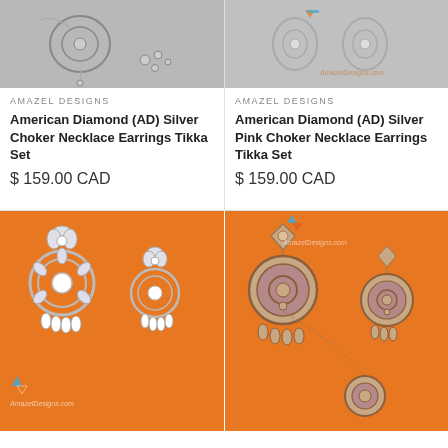[Figure (photo): Silver American Diamond jewelry - choker necklace earrings tikka set on grey background]
AMAZEL DESIGNS
American Diamond (AD) Silver Choker Necklace Earrings Tikka Set
$ 159.00 CAD
[Figure (photo): American Diamond Silver Pink choker necklace earrings tikka set with AmazelDesigns.com watermark]
AMAZEL DESIGNS
American Diamond (AD) Silver Pink Choker Necklace Earrings Tikka Set
$ 159.00 CAD
[Figure (photo): Large silver American Diamond chandelier earrings with tikka on orange fabric background with AmazelDesigns.com watermark]
[Figure (photo): Rose gold round chandbali earrings set with tikka on orange fabric background with AmazelDesigns.com watermark]